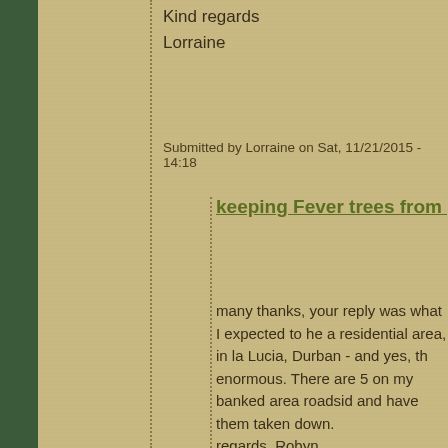Kind regards
Lorraine
Submitted by Lorraine on Sat, 11/21/2015 - 14:18
keeping Fever trees from growing too bi
many thanks, your reply was what I expected to he a residential area, in la Lucia, Durban - and yes, th enormous. There are 5 on my banked area roadsid and have them taken down.
regards, Robyn
Submitted by Robyn white on Sat, 11/21/2015 - 15:45
Keeping Fever trees from growing too
Hi Robyn
Sadly, I do agree that removal is probably best. plant a variety of large shrubs, which grow only rather than trees. If you choose carefully, you w with berries, nectar and insects which will draw
Kind regards